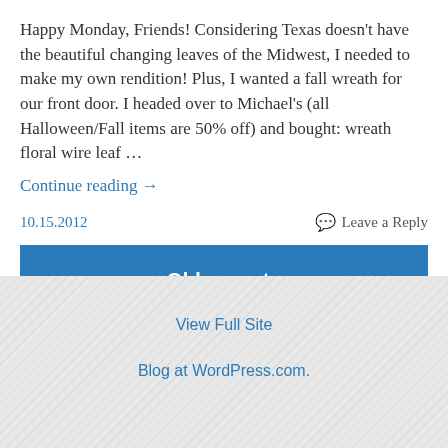Happy Monday, Friends! Considering Texas doesn't have the beautiful changing leaves of the Midwest, I needed to make my own rendition! Plus, I wanted a fall wreath for our front door. I headed over to Michael's (all Halloween/Fall items are 50% off) and bought: wreath floral wire leaf …
Continue reading →
10.15.2012    Leave a Reply
Older posts
View Full Site
Blog at WordPress.com.